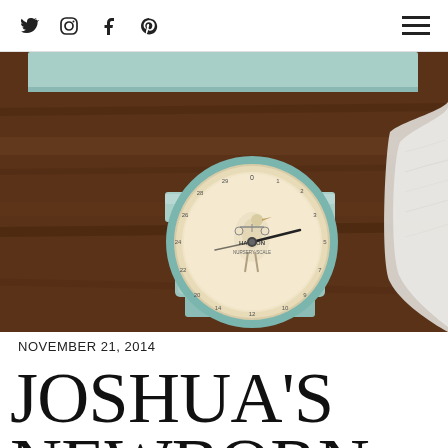Social icons: Twitter, Instagram, Facebook, Pinterest; Hamburger menu
[Figure (photo): Vintage mint/teal Hanson nursery baby scale with circular clock-face dial showing numbers 0-30, decorated with stork illustration, sitting on a dark wood surface with white feathery material visible on right edge]
NOVEMBER 21, 2014
JOSHUA'S NEWBORN